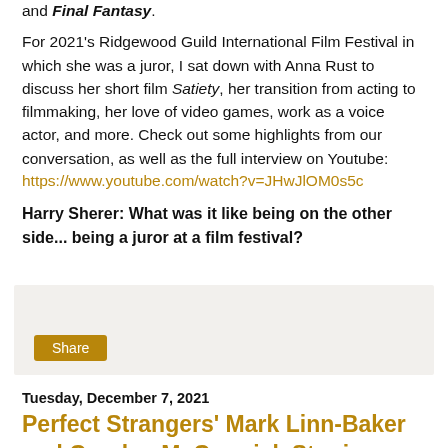and Final Fantasy.
For 2021's Ridgewood Guild International Film Festival in which she was a juror, I sat down with Anna Rust to discuss her short film Satiety, her transition from acting to filmmaking, her love of video games, work as a voice actor, and more. Check out some highlights from our conversation, as well as the full interview on Youtube:
https://www.youtube.com/watch?v=JHwJlOM0s5c
Harry Sherer: What was it like being on the other side... being a juror at a film festival?
[Figure (other): Share box with a Share button]
Tuesday, December 7, 2021
Perfect Strangers' Mark Linn-Baker and Carolyn McCormick Star in Benefit